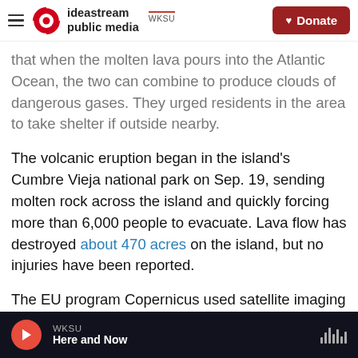ideastream public media | WKSU | Donate
that when the molten lava pours into the Atlantic Ocean, the two can combine to produce clouds of dangerous gases. They urged residents in the area to take shelter if outside nearby.
The volcanic eruption began in the island's Cumbre Vieja national park on Sep. 19, sending molten rock across the island and quickly forcing more than 6,000 people to evacuate. Lava flow has destroyed about 470 acres on the island, but no injuries have been reported.
The EU program Copernicus used satellite imaging to survey the destruction.
WKSU | Here and Now